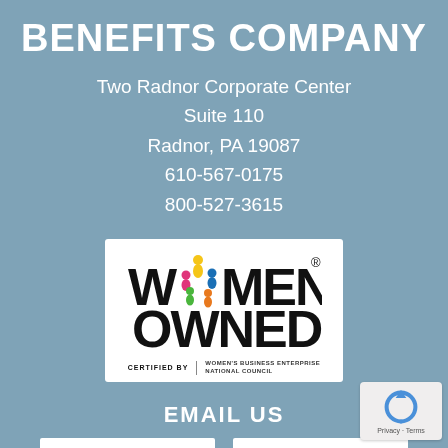BENEFITS COMPANY
Two Radnor Corporate Center
Suite 110
Radnor, PA 19087
610-567-0175
800-527-3615
[Figure (logo): Women Owned certified by Women's Business Enterprise National Council logo]
EMAIL US
[Figure (other): reCAPTCHA widget with privacy and terms links]